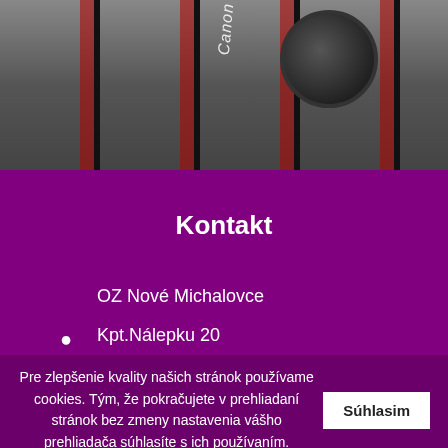[Figure (photo): Photo of Canon camera lens/strap with red and black details, blurred background]
Kontakt
OZ Nové Michalovce
Kpt.Nálepku 20
071 01 Michalovce
oz@novemichalovce.sk
Pre zlepšenie kvality našich stránok používame cookies. Tým, že pokračujete v prehliadaní stránok bez zmeny nastavenia vášho prehliadača súhlasíte s ich používaním.
Súhlasim